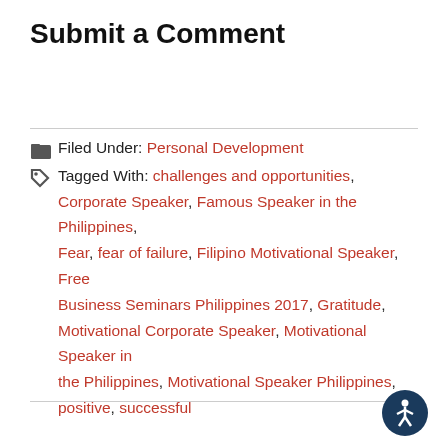Submit a Comment
Filed Under: Personal Development
Tagged With: challenges and opportunities, Corporate Speaker, Famous Speaker in the Philippines, Fear, fear of failure, Filipino Motivational Speaker, Free Business Seminars Philippines 2017, Gratitude, Motivational Corporate Speaker, Motivational Speaker in the Philippines, Motivational Speaker Philippines, positive, successful
[Figure (illustration): Accessibility icon: dark blue circle with white human figure (wheelchair accessible person) symbol]